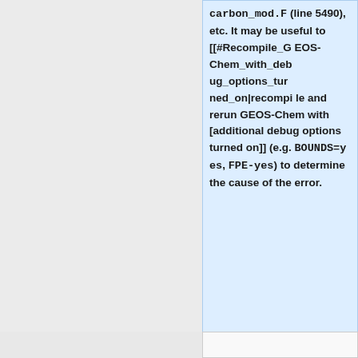<tt>carbon_mod.F</tt> (line 5490), etc. It may be useful to [[#Recompile_GEOS-Chem_with_debug_options_turned_on|recompile and rerun GEOS-Chem with [additional debug options turned on]] (e.g. <tt>BOUNDS=yes</tt>, <tt>FPE-yes</tt>) to determine the cause of the error.